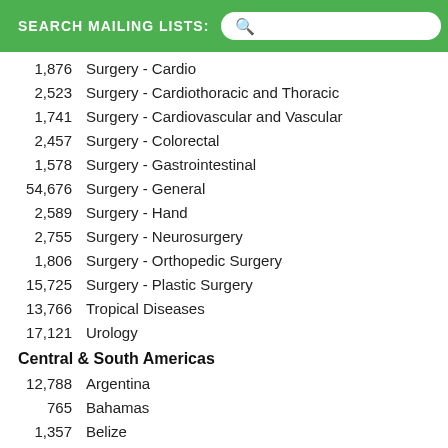SEARCH MAILING LISTS:
1,876   Surgery - Cardio
2,523   Surgery - Cardiothoracic and Thoracic
1,741   Surgery - Cardiovascular and Vascular
2,457   Surgery - Colorectal
1,578   Surgery - Gastrointestinal
54,676  Surgery - General
2,589   Surgery - Hand
2,755   Surgery - Neurosurgery
1,806   Surgery - Orthopedic Surgery
15,725  Surgery - Plastic Surgery
13,766  Tropical Diseases
17,121  Urology
Central & South Americas
12,788  Argentina
765     Bahamas
1,357   Belize
41,841  Brazil
Bolivia